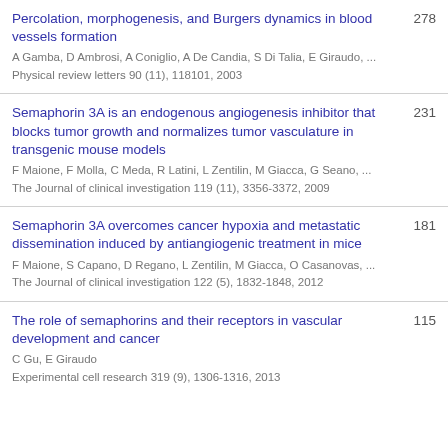Percolation, morphogenesis, and Burgers dynamics in blood vessels formation | A Gamba, D Ambrosi, A Coniglio, A De Candia, S Di Talia, E Giraudo, ... | Physical review letters 90 (11), 118101, 2003 | 278
Semaphorin 3A is an endogenous angiogenesis inhibitor that blocks tumor growth and normalizes tumor vasculature in transgenic mouse models | F Maione, F Molla, C Meda, R Latini, L Zentilin, M Giacca, G Seano, ... | The Journal of clinical investigation 119 (11), 3356-3372, 2009 | 231
Semaphorin 3A overcomes cancer hypoxia and metastatic dissemination induced by antiangiogenic treatment in mice | F Maione, S Capano, D Regano, L Zentilin, M Giacca, O Casanovas, ... | The Journal of clinical investigation 122 (5), 1832-1848, 2012 | 181
The role of semaphorins and their receptors in vascular development and cancer | C Gu, E Giraudo | Experimental cell research 319 (9), 1306-1316, 2013 | 115